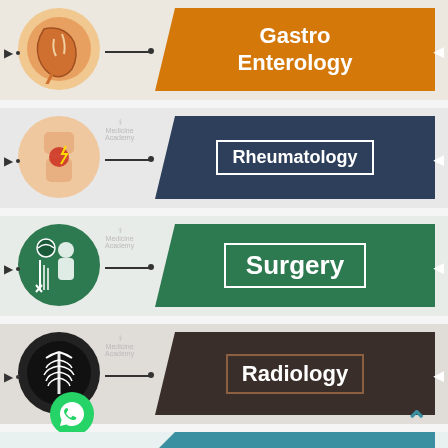[Figure (infographic): Medical specialty infographic showing 5 specialties in banner style with circular icons: Gastro Enterology (orange), Rheumatology (dark blue), Surgery (green), Radiology (dark brown), and a partial 5th specialty (teal) at bottom. Each row has a circular icon on left, a connector line, and a colored parallelogram banner with the specialty name.]
Gastro Enterology
Rheumatology
Surgery
Radiology